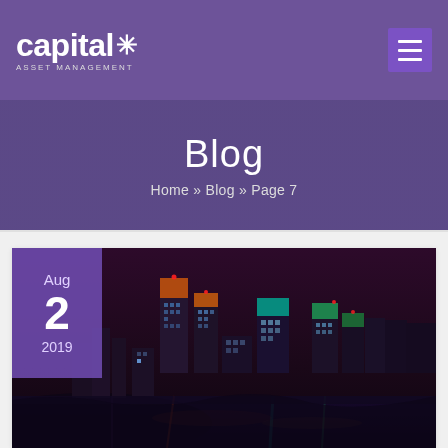[Figure (logo): Capital Asset Management logo with star icon, white text on purple background]
Blog
Home » Blog » Page 7
[Figure (photo): Night cityscape of London Canary Wharf with illuminated skyscrapers reflected in the Thames river. Date badge overlay shows Aug 2 2019.]